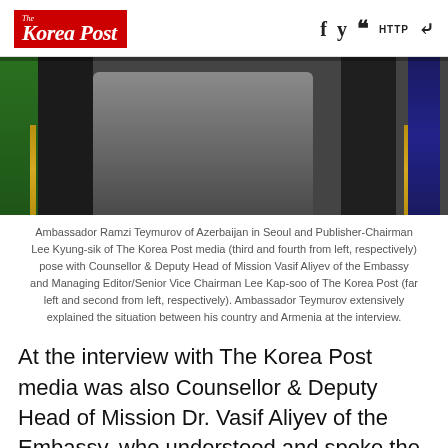The Korea Post — social icons: f y ] HTTP share
[Figure (photo): Photo of Ambassador Ramzi Teymurov of Azerbaijan and Publisher-Chairman Lee Kyung-sik of The Korea Post media with Counsellor & Deputy Head of Mission Vasif Aliyev and Managing Editor/Senior Vice Chairman Lee Kap-soo, posing together with flags in background]
Ambassador Ramzi Teymurov of Azerbaijan in Seoul and Publisher-Chairman Lee Kyung-sik of The Korea Post media (third and fourth from left, respectively) pose with Counsellor & Deputy Head of Mission Vasif Aliyev of the Embassy and Managing Editor/Senior Vice Chairman Lee Kap-soo of The Korea Post (far left and second from left, respectively). Ambassador Teymurov extensively explained the situation between his country and Armenia at the interview.
At the interview with The Korea Post media was also Counsellor & Deputy Head of Mission Dr. Vasif Aliyev of the Embassy, who understood and spoke the Korean language “as well as indigenous Koreans—if